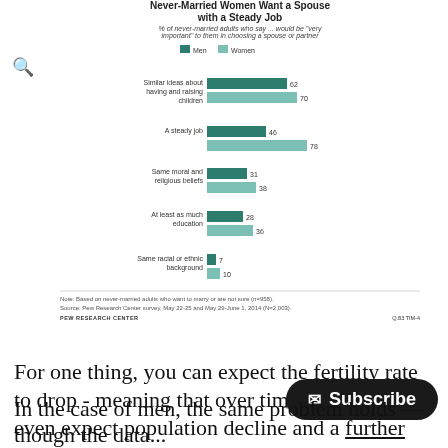[Figure (grouped-bar-chart): Never-Married Women Want a Spouse with a Steady Job]
For one thing, you can expect the fertility rate to drop - meaning that over time you might even expect population decline and a further ageing of the population.
In the case of men, the same problem holds — though the data...